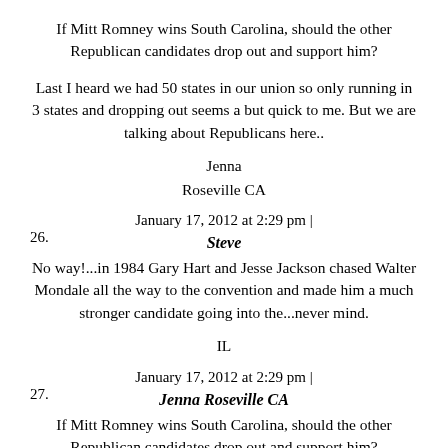If Mitt Romney wins South Carolina, should the other Republican candidates drop out and support him?
Last I heard we had 50 states in our union so only running in 3 states and dropping out seems a but quick to me. But we are talking about Republicans here..
Jenna
Roseville CA
January 17, 2012 at 2:29 pm |
26. Steve
No way!...in 1984 Gary Hart and Jesse Jackson chased Walter Mondale all the way to the convention and made him a much stronger candidate going into the...never mind.
IL
January 17, 2012 at 2:29 pm |
27. Jenna Roseville CA
If Mitt Romney wins South Carolina, should the other Republican candidates drop out and support him?